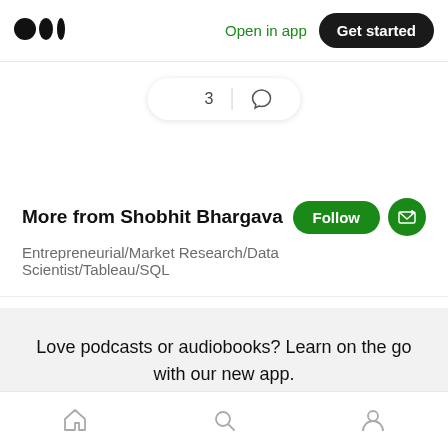Medium logo | Open in app | Get started
[Figure (screenshot): Clap (👏) count: 3 and comment bubble icon in a pill-shaped action bar]
More from Shobhit Bhargava
Entrepreneurial/Market Research/Data Scientist/Tableau/SQL
Love podcasts or audiobooks? Learn on the go with our new app.
Try Knowable
Home | Search | Profile — bottom navigation bar